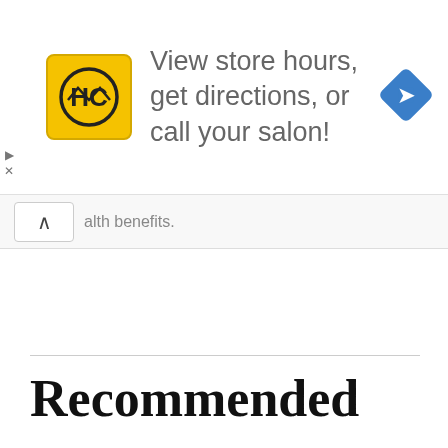[Figure (screenshot): Advertisement banner with yellow HC logo, text 'View store hours, get directions, or call your salon!' and a blue navigation diamond icon on the right]
alth benefits.
Recommended